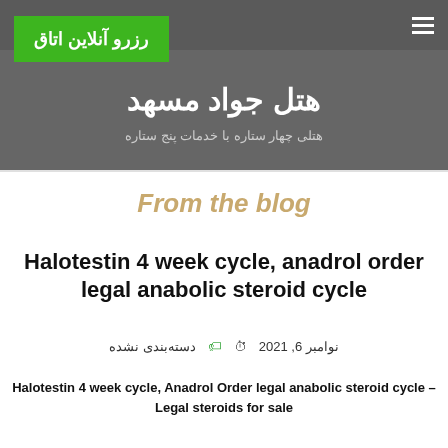هتل جواد مشهد
رزرو آنلاین اتاق
هتل جواد مشهد
هتلی چهار ستاره با خدمات پنج ستاره
From the blog
Halotestin 4 week cycle, anadrol order legal anabolic steroid cycle
نوامبر 6, 2021  دسته‌بندی نشده
Halotestin 4 week cycle, Anadrol Order legal anabolic steroid cycle – Legal steroids for sale